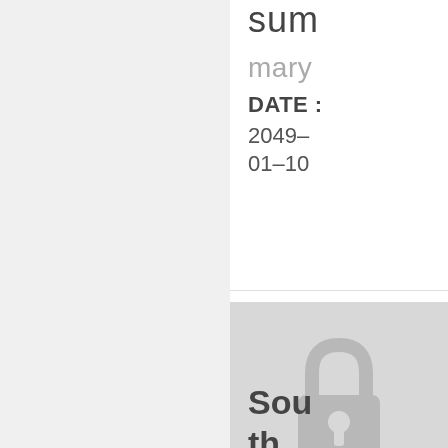sum
mary
DATE : 2049-01-10
[Figure (illustration): Lock icon on a light gray background, indicating locked/restricted content]
Sou
th
urg
ed